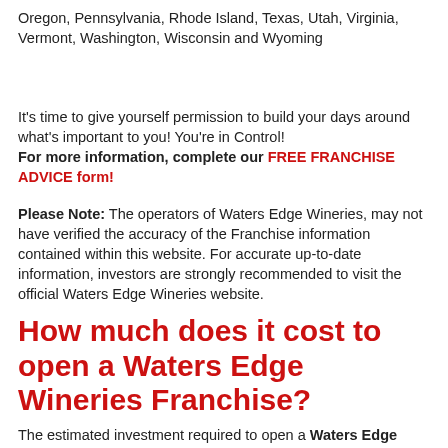Oregon, Pennsylvania, Rhode Island, Texas, Utah, Virginia, Vermont, Washington, Wisconsin and Wyoming
It's time to give yourself permission to build your days around what's important to you! You're in Control!
For more information, complete our FREE FRANCHISE ADVICE form!
Please Note: The operators of Waters Edge Wineries, may not have verified the accuracy of the Franchise information contained within this website. For accurate up-to-date information, investors are strongly recommended to visit the official Waters Edge Wineries website.
How much does it cost to open a Waters Edge Wineries Franchise?
The estimated investment required to open a Waters Edge Wineries Franchise is between $269,674-$769,760. There is an initial franchise fee of $50,000 which grants you the license to run a business under the Waters Edge Wineries name.
Individual Unit Costs